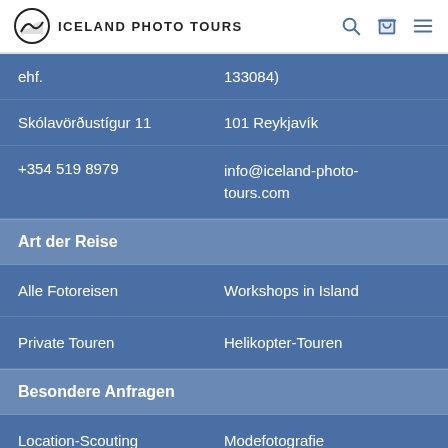ICELAND PHOTO TOURS
ehf.	133084)
Skólavörðustígur 11	101 Reykjavík
+354 519 8979	info@iceland-photo-tours.com
Art der Reise
Alle Fotoreisen	Workshops in Island
Private Touren	Helikopter-Touren
Besondere Anfragen
Location-Scouting	Modefotografie
Werde Teil des Teams
Werde ein lokaler Kontakt	Affiliate-Programm